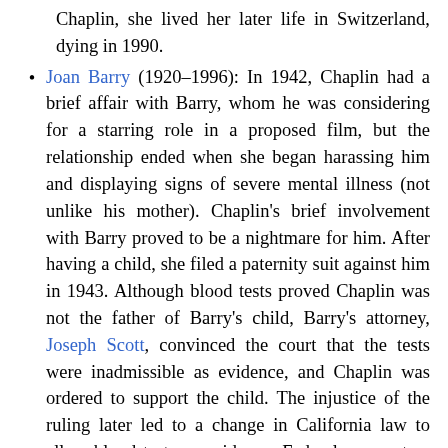Chaplin, she lived her later life in Switzerland, dying in 1990.
Joan Barry (1920–1996): In 1942, Chaplin had a brief affair with Barry, whom he was considering for a starring role in a proposed film, but the relationship ended when she began harassing him and displaying signs of severe mental illness (not unlike his mother). Chaplin's brief involvement with Barry proved to be a nightmare for him. After having a child, she filed a paternity suit against him in 1943. Although blood tests proved Chaplin was not the father of Barry's child, Barry's attorney, Joseph Scott, convinced the court that the tests were inadmissible as evidence, and Chaplin was ordered to support the child. The injustice of the ruling later led to a change in California law to allow blood tests as evidence. Federal prosecutors also brought Mann Act charges against Chaplin related to Barry in 1944, of which he was acquitted.[61] Chaplin's